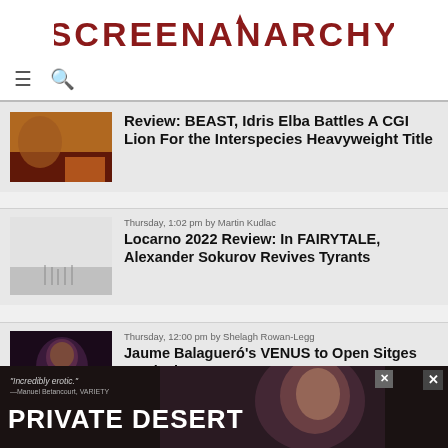SCREENANARCHY
[Figure (screenshot): Navigation bar with hamburger menu icon and search icon]
[Figure (photo): Movie still thumbnail for BEAST film showing warm orange/brown tones]
Review: BEAST, Idris Elba Battles A CGI Lion For the Interspecies Heavyweight Title
Thursday, 1:02 pm by Martin Kudlac
[Figure (photo): Movie still thumbnail for FAIRYTALE film showing misty grey tones with small silhouette figures]
Locarno 2022 Review: In FAIRYTALE, Alexander Sokurov Revives Tyrants
Thursday, 12:00 pm by Shelagh Rowan-Legg
[Figure (photo): Movie poster thumbnail for VENUS showing dark purple tones with woman's face]
Jaume Balagueró's VENUS to Open Sitges Festival
[Figure (screenshot): Advertisement banner: 'Incredibly erotic.' –Manuel Betancourt, VARIETY with PRIVATE DESERT text and woman's face]